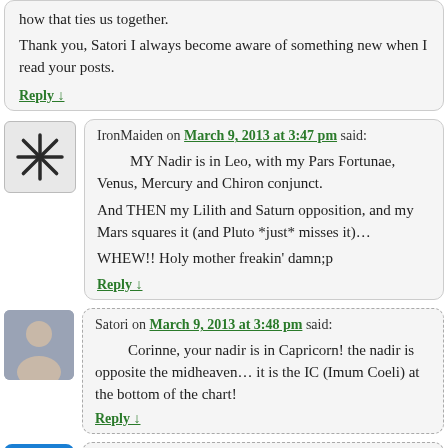how that ties us together.

Thank you, Satori I always become aware of something new when I read your posts.
Reply ↓
IronMaiden on March 9, 2013 at 3:47 pm said:
MY Nadir is in Leo, with my Pars Fortunae, Venus, Mercury and Chiron conjunct.

And THEN my Lilith and Saturn opposition, and my Mars squares it (and Pluto *just* misses it)…

WHEW!! Holy mother freakin' damn;p
Reply ↓
Satori on March 9, 2013 at 3:48 pm said:
Corinne, your nadir is in Capricorn! the nadir is opposite the midheaven… it is the IC (Imum Coeli) at the bottom of the chart!
Reply ↓
Satori on March 9, 2013 at 3:49 pm said: